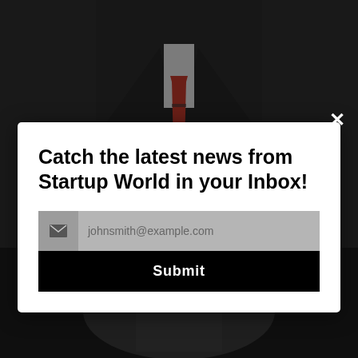[Figure (photo): Dark background showing a person in a dark suit with a red striped tie in the upper portion, and another person in the lower portion, both with dark overlay]
×
Catch the latest news from Startup World in your Inbox!
johnsmith@example.com
Submit